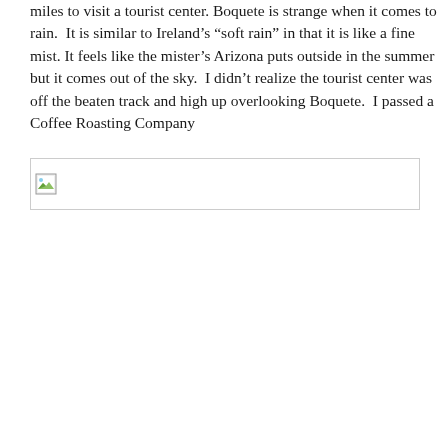miles to visit a tourist center. Boquete is strange when it comes to rain.  It is similar to Ireland's “soft rain” in that it is like a fine mist. It feels like the mister’s Arizona puts outside in the summer but it comes out of the sky.  I didn’t realize the tourist center was off the beaten track and high up overlooking Boquete.  I passed a Coffee Roasting Company
[Figure (photo): A broken/missing image placeholder with a small landscape thumbnail icon in the top-left corner, shown with a border box.]